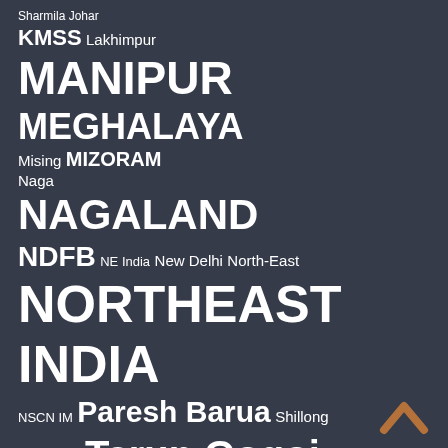[Figure (other): Tag cloud / word cloud showing topics related to Northeast India. Words shown in varying sizes indicating frequency/importance. Background is dark slate blue. Words include: Sharmila Johar, KMSS, Lakhimpur, MANIPUR, MEGHALAYA, Mising, MIZORAM, Naga, NAGALAND, NDFB, NE India, New Delhi, North-East, NORTHEAST INDIA, NSCN, NSCN IM, Paresh Barua, Shillong, Subansiri, Tarun Gogoi, TRIPURA, ULFA, UNLF. A bronze/copper chevron up arrow is in the bottom right corner.]